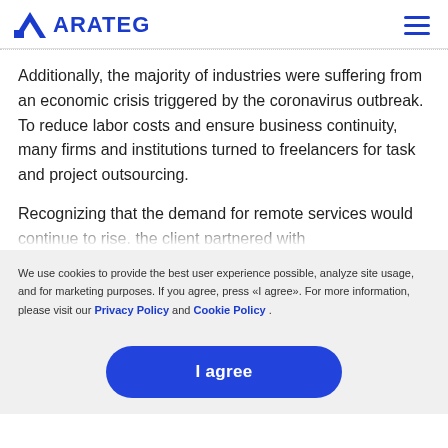ARATEG
Additionally, the majority of industries were suffering from an economic crisis triggered by the coronavirus outbreak. To reduce labor costs and ensure business continuity, many firms and institutions turned to freelancers for task and project outsourcing.
Recognizing that the demand for remote services would continue to rise, the client partnered with
We use cookies to provide the best user experience possible, analyze site usage, and for marketing purposes. If you agree, press «I agree». For more information, please visit our Privacy Policy and Cookie Policy.
I agree